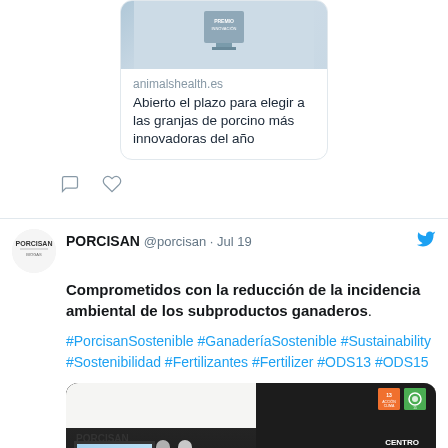[Figure (screenshot): Partial tweet top section showing a link card with an image of an award trophy on a beige background, domain animalshealth.es, and headline text]
animalshealth.es
Abierto el plazo para elegir a las granjas de porcino más innovadoras del año
[Figure (screenshot): Tweet interaction icons: comment bubble and heart/like icon]
PORCISAN @porcisan · Jul 19
Comprometidos con la reducción de la incidencia ambiental de los subproductos ganaderos.
#PorcisanSostenible #GanaderíaSostenible #Sustainability #Sostenibilidad #Fertilizantes #Fertilizer #ODS13 #ODS15
[Figure (photo): Photo of PORCISAN event/presentation room with dark wall, CENTRO AGRARIO sign, SDG icons 13 and 15, a projection screen, and people standing]